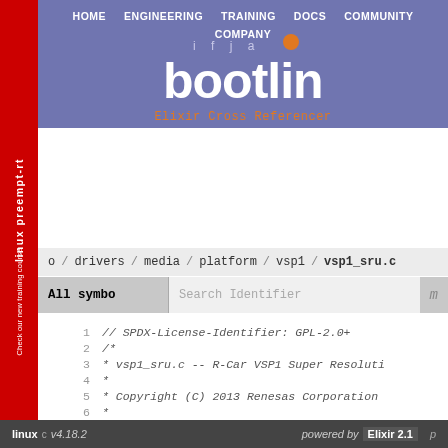HOME  ENGINEERING  TRAINING  DOCS  COMMUNITY  COMPANY
[Figure (logo): Bootlin logo with 'ifjа' above and orange dot, white text on purple/blue background, with 'Elixir Cross Referencer' subtitle in orange monospace]
o  /  drivers / media / platform / vsp1 / vsp1_sru.c
All symbo   Search Identifier   m
1  // SPDX-License-Identifier: GPL-2.0+
2  /*
3   * vsp1_sru.c  --  R-Car VSP1 Super Resoluti
4   *
5   * Copyright (C) 2013 Renesas Corporation
6   *
7   * Contact: Laurent Pinchart (laurent.pincha
8   */
linux  c v4.18.2    powered by  Elixir 2.1   p